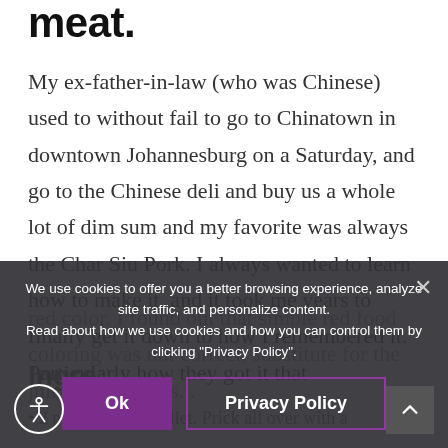meat.
My ex-father-in-law (who was Chinese) used to without fail to go to Chinatown in downtown Johannesburg on a Saturday, and go to the Chinese deli and buy us a whole lot of dim sum and my favorite was always the Char Siu Pork. I always wanted to learn how to make it, and it took me years to finally get it down to how I remembered it. Particularly how they got it that red color. I found out that simple red food coloring was not correct, substitute for the juice of red beets...
Ingre…
2 pieces of pork fillet. Prick all over with a…
We use cookies to offer you a better browsing experience, analyze site traffic, and personalize content. Read about how we use cookies and how you can control them by clicking "Privacy Policy".